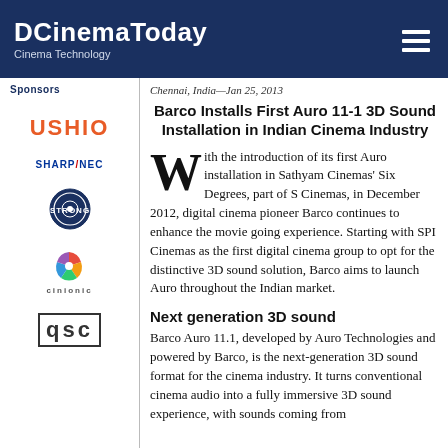DCinemaToday — Cinema Technology
Sponsors
[Figure (logo): USHIO logo in orange bold text]
[Figure (logo): Sharp/NEC logo in blue and red bold text]
[Figure (logo): Strong circular badge logo]
[Figure (logo): Cinionic logo with colorful wheel icon and text]
[Figure (logo): QSC logo in bold block letters]
Chennai, India—Jan 25, 2013
Barco Installs First Auro 11-1 3D Sound Installation in Indian Cinema Industry
With the introduction of its first Auro installation in Sathyam Cinemas' Six Degrees, part of S Cinemas, in December 2012, digital cinema pioneer Barco continues to enhance the movie going experience. Starting with SPI Cinemas as the first digital cinema group to opt for the distinctive 3D sound solution, Barco aims to launch Auro throughout the Indian market.
Next generation 3D sound
Barco Auro 11.1, developed by Auro Technologies and powered by Barco, is the next-generation 3D sound format for the cinema industry. It turns conventional cinema audio into a fully immersive 3D sound experience, with sounds coming from